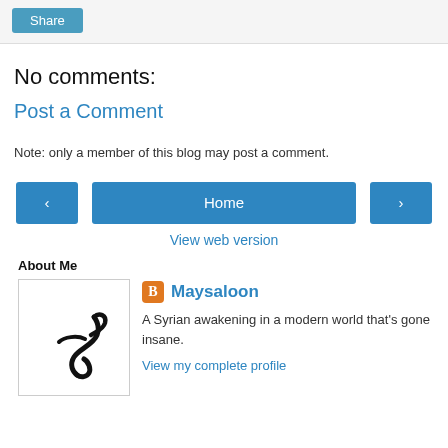[Figure (other): Share button in a light grey toolbar]
No comments:
Post a Comment
Note: only a member of this blog may post a comment.
[Figure (other): Navigation row with left arrow button, Home button, and right arrow button]
View web version
About Me
[Figure (other): Profile section with Blogger icon, username Maysaloon, bio text, and a profile image showing a Hebrew/Arabic calligraphy letter]
A Syrian awakening in a modern world that's gone insane.
View my complete profile